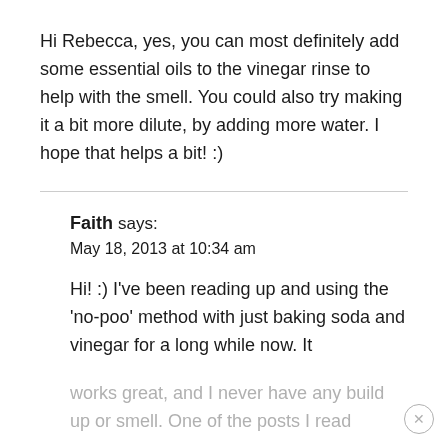Hi Rebecca, yes, you can most definitely add some essential oils to the vinegar rinse to help with the smell. You could also try making it a bit more dilute, by adding more water. I hope that helps a bit! :)
Faith says:
May 18, 2013 at 10:34 am

Hi! :) I've been reading up and using the 'no-poo' method with just baking soda and vinegar for a long while now. It
works great, and I never have any build up or smell. One of the posts I read